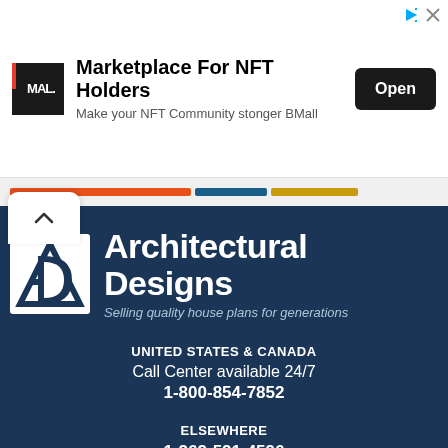[Figure (screenshot): Advertisement banner for BMall NFT Marketplace with logo, text, and open button]
[Figure (screenshot): Navigation color stripes bar (orange, blue, gold) with scroll-up arrow button]
[Figure (logo): Architectural Designs logo - AD icon with house outline]
Architectural Designs
Selling quality house plans for generations
UNITED STATES & CANADA
Call Center available 24/7
1-800-854-7852
ELSEWHERE
1-262-521-4596
GET OUR NEWSLETTER!